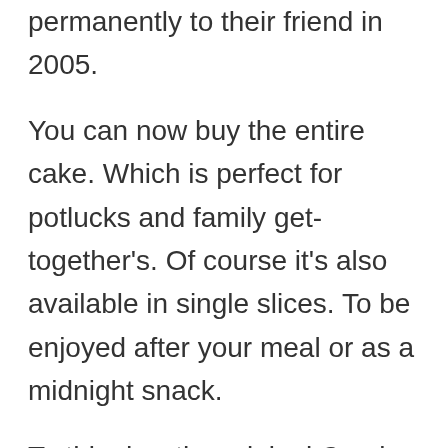permanently to their friend in 2005.
You can now buy the entire cake. Which is perfect for potlucks and family get-together's. Of course it's also available in single slices. To be enjoyed after your meal or as a midnight snack.
To this day, the original Cracker Barrel recipe remains a secret, but thanks to the above copycat recipe, you can make this rich, decadent dessert at home at a fraction of the cost.